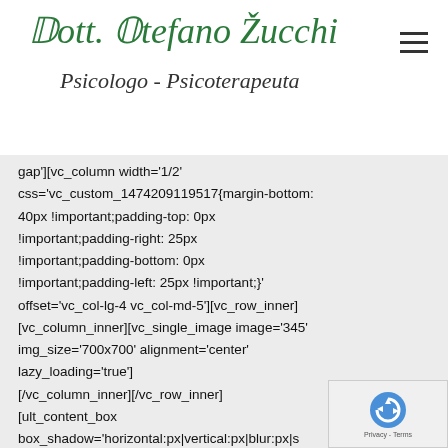Dott. Stefano Zucchi — Psicologo - Psicoterapeuta
gap'][vc_column width='1/2' css='vc_custom_1474209119517{margin-bottom: 40px !important;padding-top: 0px !important;padding-right: 25px !important;padding-bottom: 0px !important;padding-left: 25px !important;}' offset='vc_col-lg-4 vc_col-md-5'][vc_row_inner][vc_column_inner][vc_single_image image='345' img_size='700x700' alignment='center' onclick='link_image' lazy_loading='true'][/vc_column_inner][/vc_row_inner][ult_content_box box_shadow='horizontal:px|vertical:px|blur:px|s hover_box_shadow='horizontal:px|vertical:px|blur:px|spre